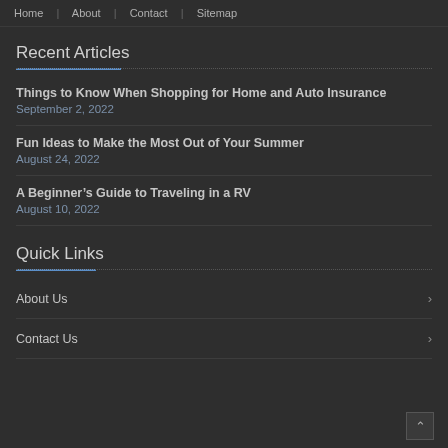Home | About | Contact | Sitemap
Recent Articles
Things to Know When Shopping for Home and Auto Insurance
September 2, 2022
Fun Ideas to Make the Most Out of Your Summer
August 24, 2022
A Beginner’s Guide to Traveling in a RV
August 10, 2022
Quick Links
About Us
Contact Us